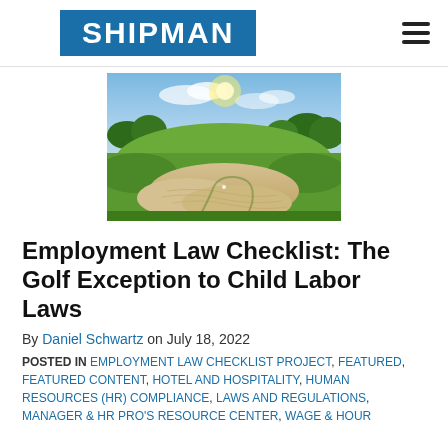SHIPMAN
[Figure (photo): Aerial view of a golf course with a sand bunker, green fairway, and trees in the background under a partly cloudy sky with sun.]
Employment Law Checklist: The Golf Exception to Child Labor Laws
By Daniel Schwartz on July 18, 2022
POSTED IN EMPLOYMENT LAW CHECKLIST PROJECT, FEATURED, FEATURED CONTENT, HOTEL AND HOSPITALITY, HUMAN RESOURCES (HR) COMPLIANCE, LAWS AND REGULATIONS, MANAGER & HR PRO'S RESOURCE CENTER, WAGE & HOUR